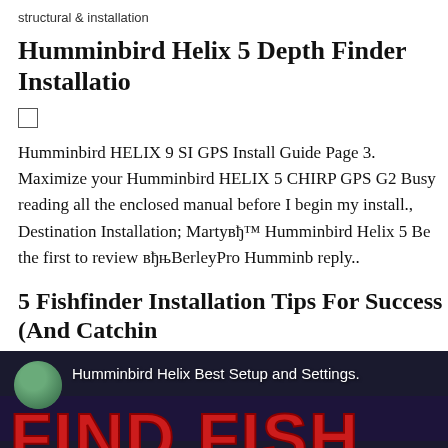structural & installation
Humminbird Helix 5 Depth Finder Installation
Humminbird HELIX 9 SI GPS Install Guide Page 3. Maximize your Humminbird HELIX 5 CHIRP GPS G2 Busy reading all the enclosed manual before I begin my install., Destination Installation; Martyвђ™ Humminbird Helix 5 Be the first to review вђњBerleyPro Humminb reply..
5 Fishfinder Installation Tips For Success (And Catchin
[Figure (screenshot): Video thumbnail showing Humminbird Helix Best Setup and Settings with overlaid text FIND FISH FA... WITH THES... in large red Impact-style font on dark background, with circular avatar in top left]